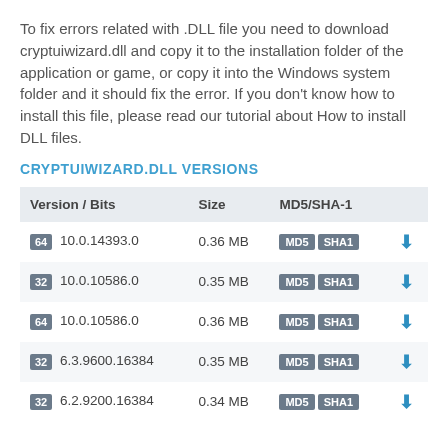To fix errors related with .DLL file you need to download cryptuiwizard.dll and copy it to the installation folder of the application or game, or copy it into the Windows system folder and it should fix the error. If you don’t know how to install this file, please read our tutorial about How to install DLL files.
CRYPTUIWIZARD.DLL VERSIONS
| Version / Bits | Size | MD5/SHA-1 |  |
| --- | --- | --- | --- |
| 64  10.0.14393.0 | 0.36 MB | MD5  SHA1 | ↓ |
| 32  10.0.10586.0 | 0.35 MB | MD5  SHA1 | ↓ |
| 64  10.0.10586.0 | 0.36 MB | MD5  SHA1 | ↓ |
| 32  6.3.9600.16384 | 0.35 MB | MD5  SHA1 | ↓ |
| 32  6.2.9200.16384 | 0.34 MB | MD5  SHA1 | ↓ |